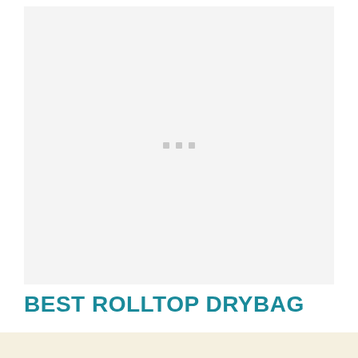[Figure (photo): Large image placeholder area with loading indicator dots, light gray background]
BEST ROLLTOP DRYBAG